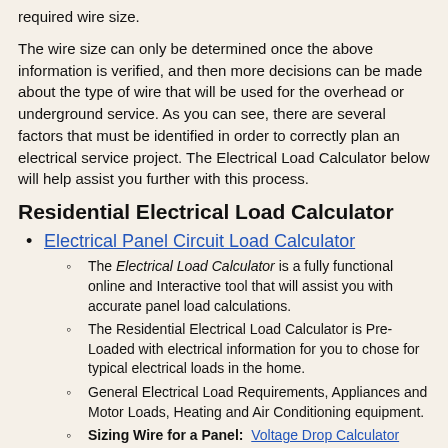required wire size.
The wire size can only be determined once the above information is verified, and then more decisions can be made about the type of wire that will be used for the overhead or underground service. As you can see, there are several factors that must be identified in order to correctly plan an electrical service project. The Electrical Load Calculator below will help assist you further with this process.
Residential Electrical Load Calculator
Electrical Panel Circuit Load Calculator
The Electrical Load Calculator is a fully functional online and Interactive tool that will assist you with accurate panel load calculations.
The Residential Electrical Load Calculator is Pre-Loaded with electrical information for you to chose for typical electrical loads in the home.
General Electrical Load Requirements, Appliances and Motor Loads, Heating and Air Conditioning equipment.
Sizing Wire for a Panel: Voltage Drop Calculator
See More about the Home Electrical Service Panel